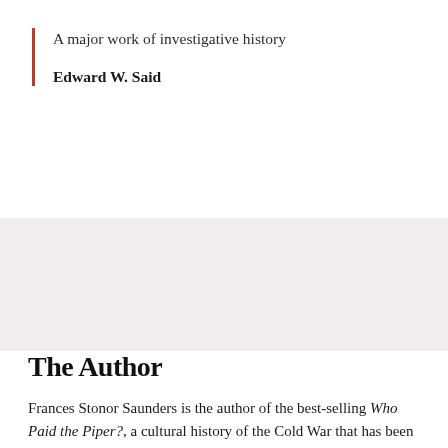A major work of investigative history
Edward W. Said
The Author
Frances Stonor Saunders is the author of the best-selling Who Paid the Piper?, a cultural history of the Cold War that has been translated into ten languages and was awarded the